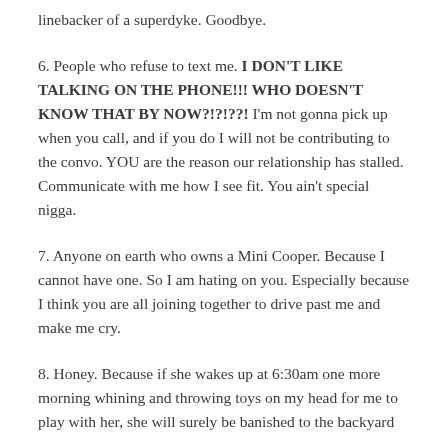linebacker of a superdyke. Goodbye.
6. People who refuse to text me. I DON'T LIKE TALKING ON THE PHONE!!! WHO DOESN'T KNOW THAT BY NOW?!?!??! I'm not gonna pick up when you call, and if you do I will not be contributing to the convo. YOU are the reason our relationship has stalled. Communicate with me how I see fit. You ain't special nigga.
7. Anyone on earth who owns a Mini Cooper. Because I cannot have one. So I am hating on you. Especially because I think you are all joining together to drive past me and make me cry.
8. Honey. Because if she wakes up at 6:30am one more morning whining and throwing toys on my head for me to play with her, she will surely be banished to the backyard